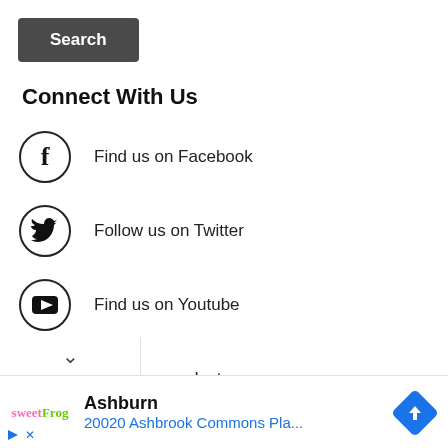Search
Connect With Us
Find us on Facebook
Follow us on Twitter
Find us on Youtube
Follow us on Instagram
Ashburn
20020 Ashbrook Commons Pla...